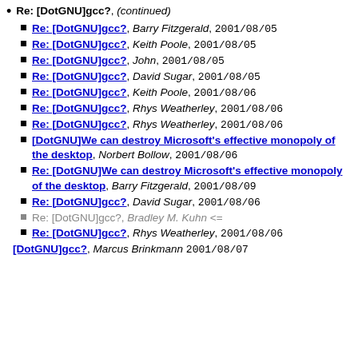Re: [DotGNU]gcc?, (continued)
Re: [DotGNU]gcc?, Barry Fitzgerald, 2001/08/05
Re: [DotGNU]gcc?, Keith Poole, 2001/08/05
Re: [DotGNU]gcc?, John, 2001/08/05
Re: [DotGNU]gcc?, David Sugar, 2001/08/05
Re: [DotGNU]gcc?, Keith Poole, 2001/08/06
Re: [DotGNU]gcc?, Rhys Weatherley, 2001/08/06
Re: [DotGNU]gcc?, Rhys Weatherley, 2001/08/06
[DotGNU]We can destroy Microsoft's effective monopoly of the desktop, Norbert Bollow, 2001/08/06
Re: [DotGNU]We can destroy Microsoft's effective monopoly of the desktop, Barry Fitzgerald, 2001/08/09
Re: [DotGNU]gcc?, David Sugar, 2001/08/06
Re: [DotGNU]gcc?, Bradley M. Kuhn <=
Re: [DotGNU]gcc?, Rhys Weatherley, 2001/08/06
[DotGNU]gcc?, Marcus Brinkmann 2001/08/07